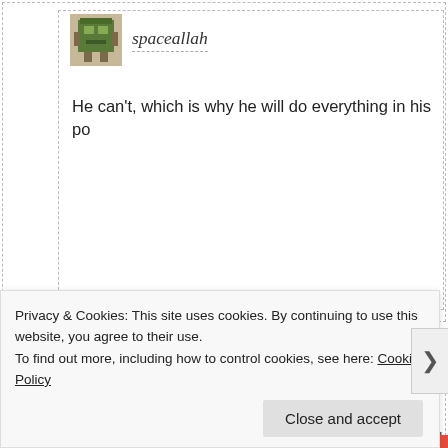[Figure (screenshot): Avatar icon for user spaceallah - pixel art robot/character in green and brown]
spaceallah
He can't, which is why he will do everything in his po
[Figure (photo): Avatar image for user KGB - black and white illustration]
KGB
livefreeor die :
Hey, maybe he was out riding his bike-yeah, that's it! And whi
and taking pictures, someone hacked into his computer and t
Privacy & Cookies: This site uses cookies. By continuing to use this website, you agree to their use.
To find out more, including how to control cookies, see here: Cookie Policy
Close and accept